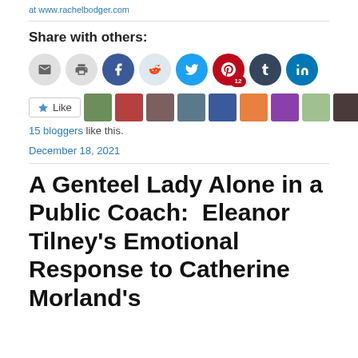at www.rachelbodger.com
Share with others:
[Figure (other): Row of social sharing icon buttons: email, print, Facebook, Reddit, Twitter, Pinterest (12), Tumblr, LinkedIn]
[Figure (other): Like button with star icon followed by a row of 11 blogger avatar thumbnails]
15 bloggers like this.
December 18, 2021
A Genteel Lady Alone in a Public Coach:  Eleanor Tilney's Emotional Response to Catherine Morland's